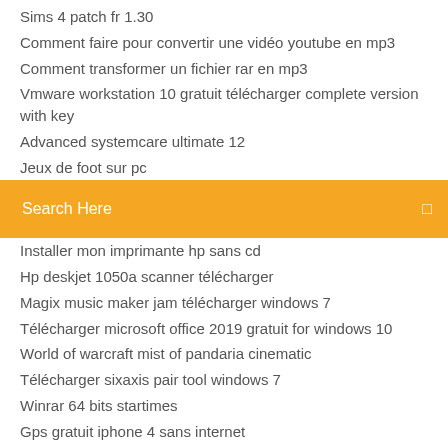Sims 4 patch fr 1.30
Comment faire pour convertir une vidéo youtube en mp3
Comment transformer un fichier rar en mp3
Vmware workstation 10 gratuit télécharger complete version with key
Advanced systemcare ultimate 12
Jeux de foot sur pc
Search Here
Installer mon imprimante hp sans cd
Hp deskjet 1050a scanner télécharger
Magix music maker jam télécharger windows 7
Télécharger microsoft office 2019 gratuit for windows 10
World of warcraft mist of pandaria cinematic
Télécharger sixaxis pair tool windows 7
Winrar 64 bits startimes
Gps gratuit iphone 4 sans internet
Adobe flash player télécharger for windows 7 internet explorer 64 bit